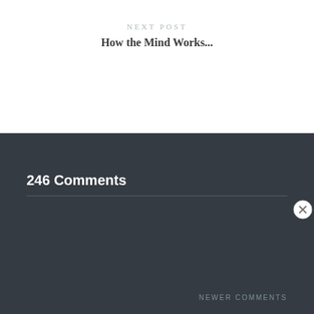NEXT POST
How the Mind Works...
246 Comments
NEWER COMMENTS
Advertisements
[Figure (infographic): Advertisement banner: 'Turn your blog into a money-making online course.' with logo icon and arrow]